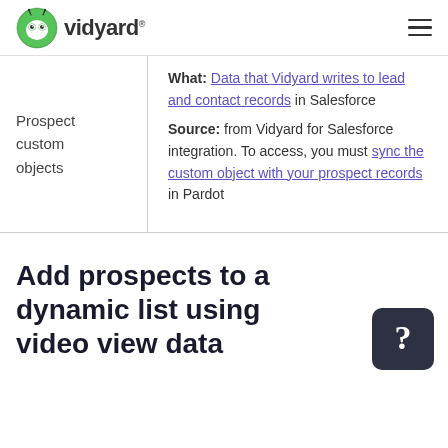Vidyard
|  |  |
| --- | --- |
| Prospect custom objects | What: Data that Vidyard writes to lead and contact records in Salesforce
Source: from Vidyard for Salesforce integration. To access, you must sync the custom object with your prospect records in Pardot |
Add prospects to a dynamic list using video view data